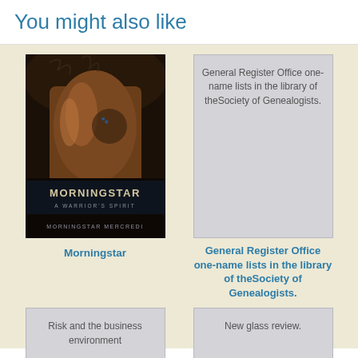You might also like
[Figure (illustration): Book cover for Morningstar: A Warrior's Spirit by Morningstar Mercredi — dark moody photograph of a person's back with a tattoo]
Morningstar
[Figure (other): Placeholder card showing text: General Register Office one-name lists in the library of theSociety of Genealogists.]
General Register Office one-name lists in the library of theSociety of Genealogists.
[Figure (other): Placeholder card showing text: Risk and the business environment]
[Figure (other): Placeholder card showing text: New glass review.]